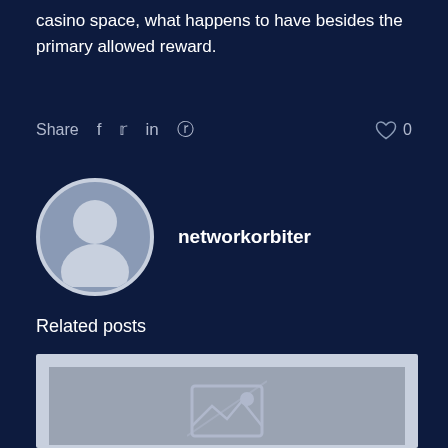casino space, what happens to have besides the primary allowed reward.
Share  f  t  in  P   ♡ 0
networkorbiter
Related posts
[Figure (photo): Placeholder image thumbnail for a related post, showing a grey background with a broken image icon in the center.]